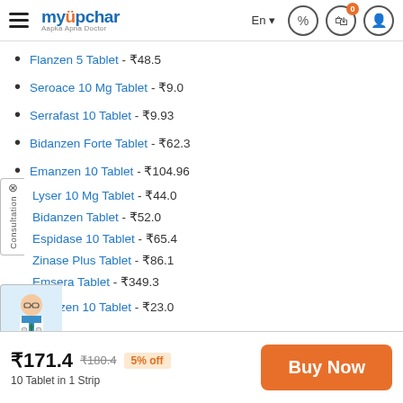myUpchar - Aapka Apna Doctor
Flanzen 5 Tablet - ₹48.5
Seroace 10 Mg Tablet - ₹9.0
Serrafast 10 Tablet - ₹9.93
Bidanzen Forte Tablet - ₹62.3
Emanzen 10 Tablet - ₹104.96
Lyser 10 Mg Tablet - ₹44.0
Bidanzen Tablet - ₹52.0
Espidase 10 Tablet - ₹65.4
Zinase Plus Tablet - ₹86.1
Emsera Tablet - ₹349.3
Mucozen 10 Tablet - ₹23.0
₹171.4  ₹180.4  5% off
10 Tablet in 1 Strip
Buy Now